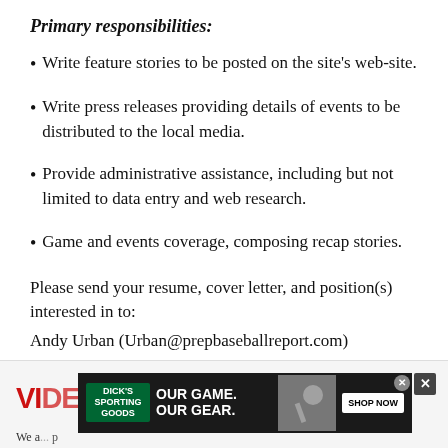Primary responsibilities:
Write feature stories to be posted on the site's web-site.
Write press releases providing details of events to be distributed to the local media.
Provide administrative assistance, including but not limited to data entry and web research.
Game and events coverage, composing recap stories.
Please send your resume, cover letter, and position(s) interested in to:
Andy Urban (Urban@prepbaseballreport.com)
[Figure (advertisement): Dick's Sporting Goods advertisement banner: 'OUR GAME. OUR GEAR.' with SHOP NOW button and baseball player photo. Overlaid with partial 'VIDEO INTERN' heading text in red.]